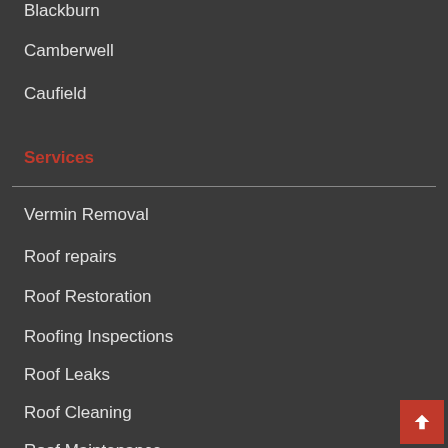Blackburn
Camberwell
Caufield
Services
Vermin Removal
Roof repairs
Roof Restoration
Roofing Inspections
Roof Leaks
Roof Cleaning
Roof Maintenance